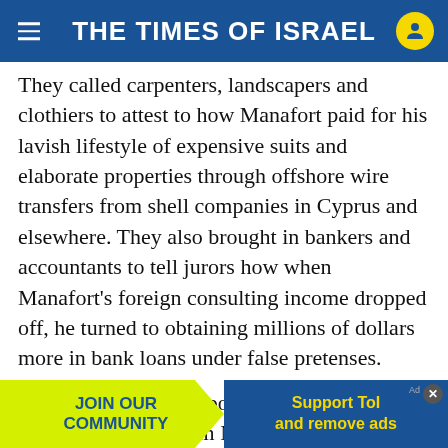THE TIMES OF ISRAEL
They called carpenters, landscapers and clothiers to attest to how Manafort paid for his lavish lifestyle of expensive suits and elaborate properties through offshore wire transfers from shell companies in Cyprus and elsewhere. They also brought in bankers and accountants to tell jurors how when Manafort’s foreign consulting income dropped off, he turned to obtaining millions of dollars more in bank loans under false pretenses.
And perhaps most importantly, the government read from Manafort’s own emails as they laid out their case, including messages where he personally directed withdrawals from the offshore accounts he never
[Figure (infographic): Advertisement banner: yellow left side with 'JOIN OUR COMMUNITY' text in blue, blue right side with 'Support ToI and remove ads' in yellow text.]